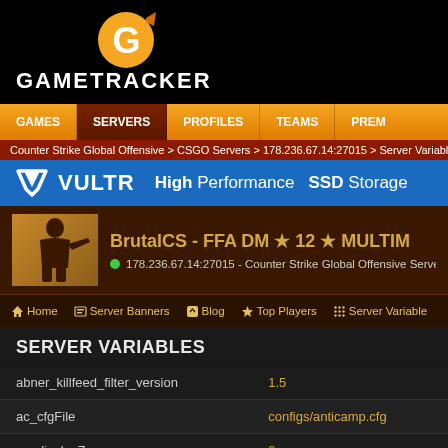[Figure (logo): GameTracker logo with gold G icon and white GAMETRACKER text on black background]
GAMES | SERVERS | PROFILES | TEAMS | PREM
Counter Strike Global Offensive > CSGO Servers > 178.236.67.14:27015 > Server Variables
[Figure (infographic): VULTR High Performance SSD Storage advertisement banner]
[Figure (infographic): BrutalCS - FFA DM ★ 12 ★ MULTIM server panel with CS:GO soldier icon and server address 178.236.67.14:27015]
Home | Server Banners | Blog | Top Players | Server Variable
SERVER VARIABLES
| Variable | Value |
| --- | --- |
| abner_killfeed_filter_version | 1.5 |
| ac_cfgFile | configs/anticamp.cfg |
| ac_displayZones | 0 |